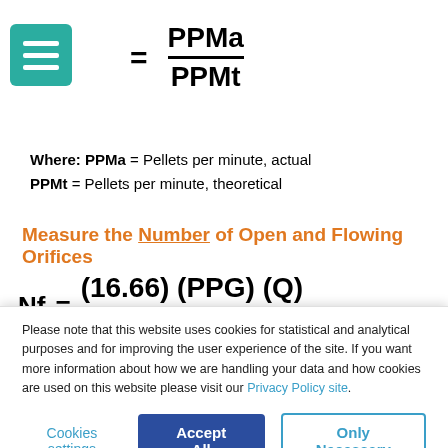Where: PPMa = Pellets per minute, actual
PPMt = Pellets per minute, theoretical
Measure the Number of Open and Flowing Orifices
Please note that this website uses cookies for statistical and analytical purposes and for improving the user experience of the site. If you want more information about how we are handling your data and how cookies are used on this website please visit our Privacy Policy site.
Cookies settings | Accept All | Only Necessary